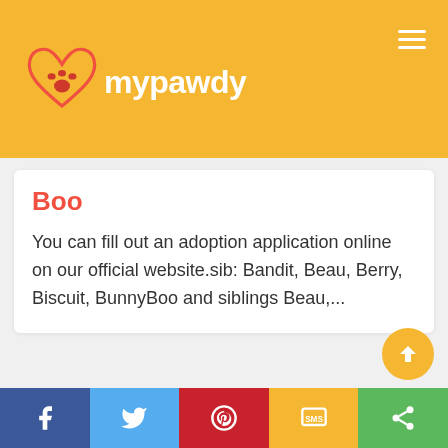[Figure (logo): mypawdy logo with heart and paw print icon on golden/yellow background with hamburger menu icon]
Boo
You can fill out an adoption application online on our official website.sib: Bandit, Beau, Berry, Biscuit, BunnyBoo and siblings Beau,...
[Figure (infographic): Social sharing bar with Facebook, Twitter, Pinterest, SMS, and general share buttons]